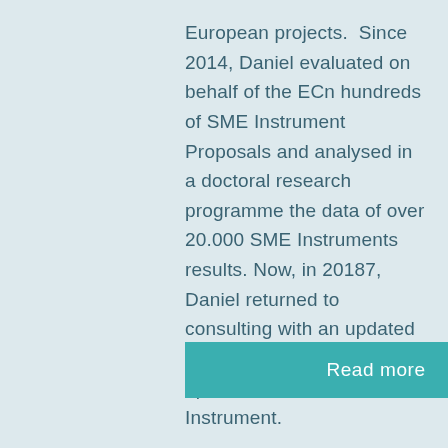European projects.  Since 2014, Daniel evaluated on behalf of the ECn hundreds of SME Instrument Proposals and analysed in a doctoral research programme the data of over 20.000 SME Instruments results. Now, in 20187, Daniel returned to consulting with an updated course for Fin Tech start-ups on the SME Instrument.
Read more